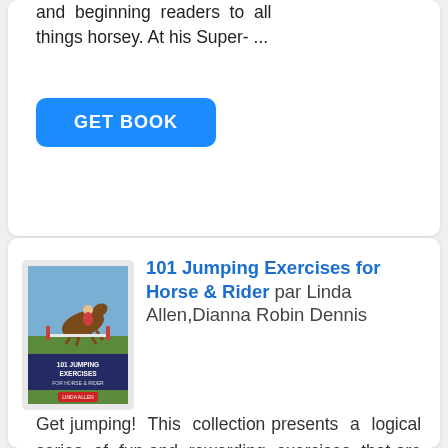and beginning readers to all things horsey. At his Super- ...
GET BOOK
[Figure (illustration): Book cover of '101 Jumping Exercises for Horse & Rider' showing a horse and rider jumping]
101 Jumping Exercises for Horse & Rider par Linda Allen,Dianna Robin Dennis
Get jumping! This collection presents a logical series of fun and rewarding exercises that are designed to develop your horse-jumping skills. With straightforward instructions and clear arena maps, this guide can be hung on a ...